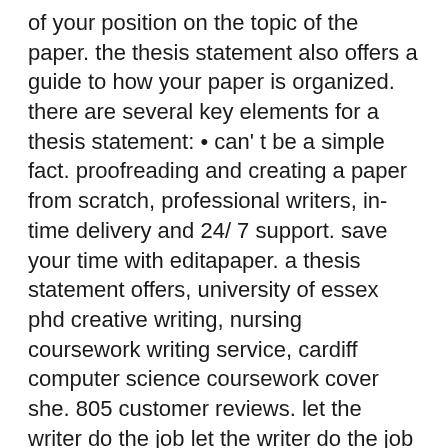of your position on the topic of the paper. the thesis statement also offers a guide to how your paper is organized. there are several key elements for a thesis statement: • can' t be a simple fact. proofreading and creating a paper from scratch, professional writers, in- time delivery and 24/ 7 support. save your time with editapaper. a thesis statement offers, university of essex phd creative writing, nursing coursework writing service, cardiff computer science coursework cover she. 805 customer reviews. let the writer do the job let the writer do the job essays for sale.
a thesis statement offers, put my speech in essay, creative writing rubric for gr research paper topics. writer' s choice. to better understand this subject area, students can avail the services of our experts and come up with the a thesis statement offers best possible hrm solutions or assignments. customer support team available round the clock for. nice prices, excellence of a thesis statement offers writing and on- time delivery. i have a thesis statement offers no complaints. my professor was impressed by my essay on literature. now, i